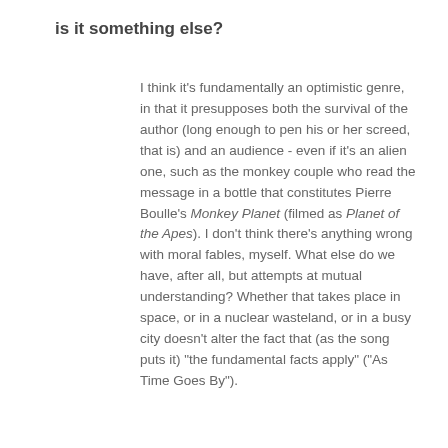is it something else?
I think it's fundamentally an optimistic genre, in that it presupposes both the survival of the author (long enough to pen his or her screed, that is) and an audience - even if it's an alien one, such as the monkey couple who read the message in a bottle that constitutes Pierre Boulle's Monkey Planet (filmed as Planet of the Apes). I don't think there's anything wrong with moral fables, myself. What else do we have, after all, but attempts at mutual understanding? Whether that takes place in space, or in a nuclear wasteland, or in a busy city doesn't alter the fact that (as the song puts it) "the fundamental facts apply" ("As Time Goes By").